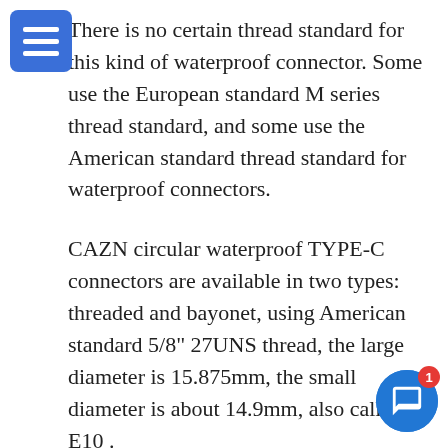There is no certain thread standard for this kind of waterproof connector. Some use the European standard M series thread standard, and some use the American standard thread standard for waterproof connectors.
CAZN circular waterproof TYPE-C connectors are available in two types: threaded and bayonet, using American standard 5/8" 27UNS thread, the large diameter is 15.875mm, the small diameter is about 14.9mm, also called E10 .
1. Waterproof cicular type C connector male to overmolded cable thread type, both side is male C plug , one side with waterproof thread, other side